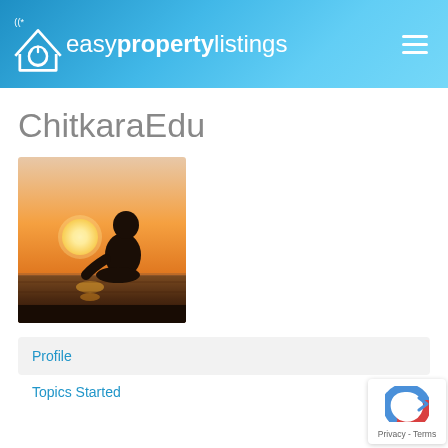easy property listings
ChitkaraEdu
[Figure (photo): Silhouette of a person sitting by water at sunset, with a bright sun in the background creating a warm orange and golden glow.]
Profile
Topics Started